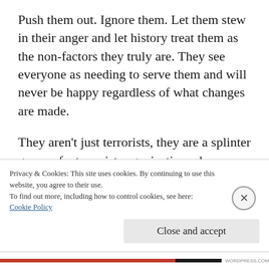Push them out. Ignore them. Let them stew in their anger and let history treat them as the non-factors they truly are. They see everyone as needing to serve them and will never be happy regardless of what changes are made.
They aren't just terrorists, they are a splinter group of a terrorist organization whose power is solely derived from the attention paid to their manifestos. They should be treated as such.
Privacy & Cookies: This site uses cookies. By continuing to use this website, you agree to their use.
To find out more, including how to control cookies, see here:
Cookie Policy
Close and accept